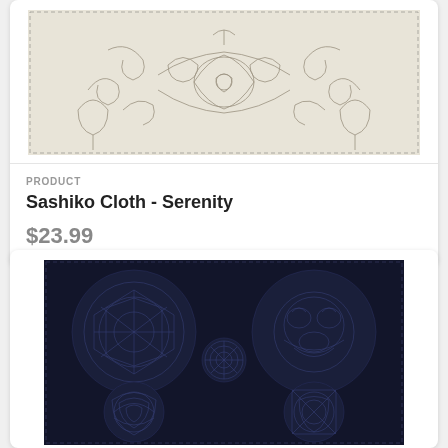[Figure (photo): Sashiko embroidery cloth with floral and botanical stitch patterns on light cream/beige fabric, showing symmetrical decorative designs]
PRODUCT
Sashiko Cloth - Serenity
$23.99
[Figure (photo): Dark navy blue sashiko cloth with four large circular embroidered designs and one small central circle, featuring intricate stitched patterns of animals and geometric motifs]